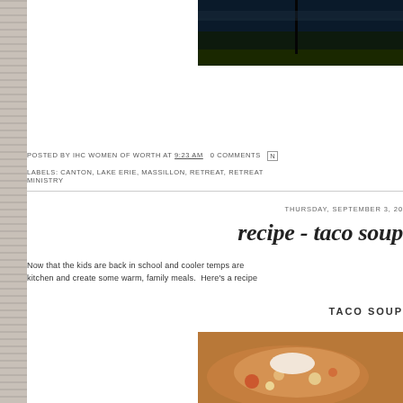[Figure (photo): Partial dark landscape photo showing water and silhouette, top right corner]
POSTED BY IHC WOMEN OF WORTH AT 9:23 AM  0 COMMENTS
LABELS: CANTON, LAKE ERIE, MASSILLON, RETREAT, RETREAT MINISTRY
THURSDAY, SEPTEMBER 3, 20
recipe - taco soup
Now that the kids are back in school and cooler temps are kitchen and create some warm, family meals.  Here's a recipe
TACO SOUP
[Figure (photo): Bowl of taco soup with toppings visible, partial view]